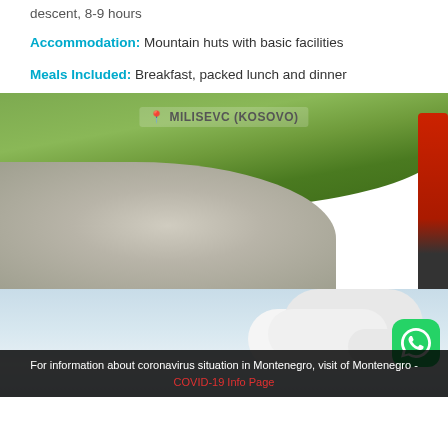descent, 8-9 hours
Accommodation: Mountain huts with basic facilities
Meals Included: Breakfast, packed lunch and dinner
[Figure (photo): Mountain landscape with grassy hills, rocky/gravel terrain, and a hiker in red jacket. Location label 'MILISEVC (KOSOVO)' overlaid at top.]
[Figure (photo): Sky with clouds, partially visible landscape below. WhatsApp button icon visible at bottom right.]
For information about coronavirus situation in Montenegro, visit of Montenegro - COVID-19 Info Page